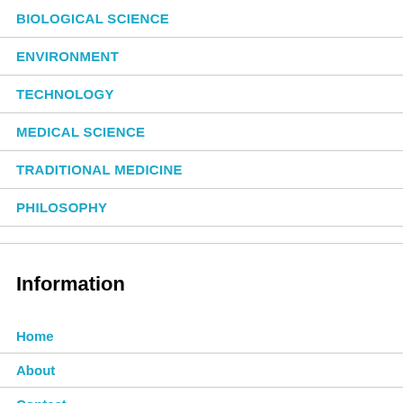BIOLOGICAL SCIENCE
ENVIRONMENT
TECHNOLOGY
MEDICAL SCIENCE
TRADITIONAL MEDICINE
PHILOSOPHY
Information
Home
About
Contact